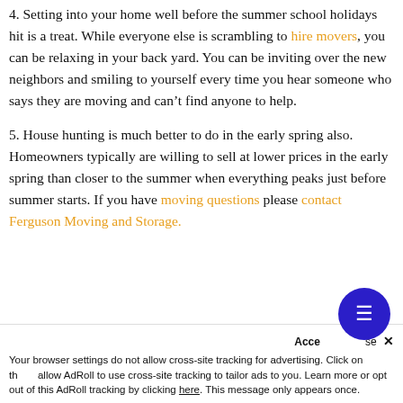4. Setting into your home well before the summer school holidays hit is a treat. While everyone else is scrambling to hire movers, you can be relaxing in your back yard. You can be inviting over the new neighbors and smiling to yourself every time you hear someone who says they are moving and can't find anyone to help.
5. House hunting is much better to do in the early spring also. Homeowners typically are willing to sell at lower prices in the early spring than closer to the summer when everything peaks just before summer starts. If you have moving questions please contact Ferguson Moving and Storage.
Your browser settings do not allow cross-site tracking for advertising. Click on the button to allow AdRoll to use cross-site tracking to tailor ads to you. Learn more or opt out of this AdRoll tracking by clicking here. This message only appears once.